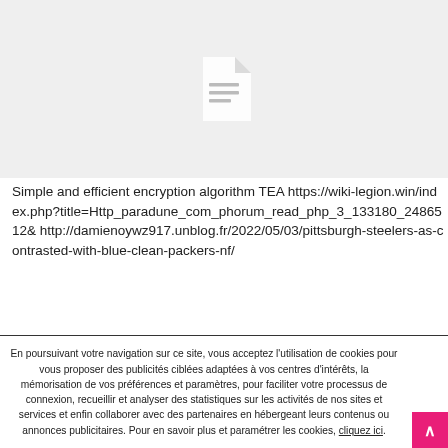[Figure (illustration): Gray placeholder box with a document/file icon in the center (white document icon with lines on gray background)]
Simple and efficient encryption algorithm TEA https://wiki-legion.win/index.php?title=Http_paradune_com_phorum_read_php_3_133180_2486512& http://damienoywz917.unblog.fr/2022/05/03/pittsburgh-steelers-as-contrasted-with-blue-clean-packers-nf/
En poursuivant votre navigation sur ce site, vous acceptez l'utilisation de cookies pour vous proposer des publicités ciblées adaptées à vos centres d'intérêts, la mémorisation de vos préférences et paramètres, pour faciliter votre processus de connexion, recueillir et analyser des statistiques sur les activités de nos sites et services et enfin collaborer avec des partenaires en hébergeant leurs contenus ou annonces publicitaires. Pour en savoir plus et paramétrer les cookies, cliquez ici.